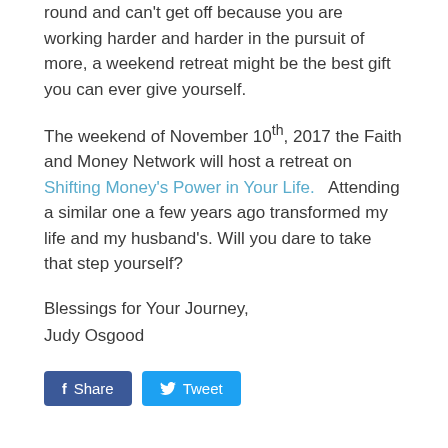round and can't get off because you are working harder and harder in the pursuit of more, a weekend retreat might be the best gift you can ever give yourself.
The weekend of November 10th, 2017 the Faith and Money Network will host a retreat on Shifting Money's Power in Your Life.   Attending a similar one a few years ago transformed my life and my husband's. Will you dare to take that step yourself?
Blessings for Your Journey,
Judy Osgood
[Figure (other): Two social sharing buttons: a blue Facebook Share button and a light-blue Twitter Tweet button]